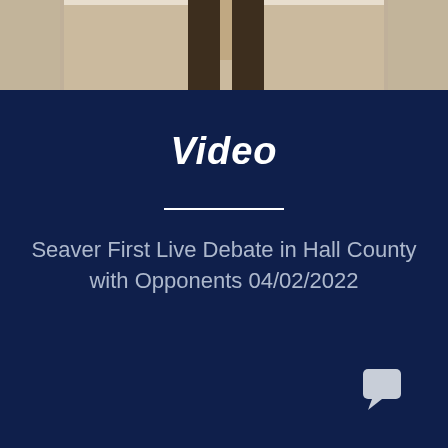[Figure (photo): Partial photo of a person, cropped at the top of the page, showing only the lower portion (legs/torso area), light background.]
Video
Seaver First Live Debate in Hall County with Opponents 04/02/2022
[Figure (illustration): Chat/comment bubble icon in light gray/white, positioned in lower-right corner.]